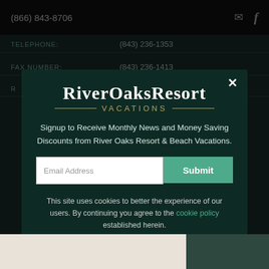(866) 843-8706
TELEPHONE: (843) 236-1353
FAX NUMBER: (843) 236-1413
[Figure (logo): River Oaks Resort Vacations logo — white serif text on dark green background with gold 'VACATIONS' subtitle and decorative lines]
Signup to Receive Monthly News and Money Saving Discounts from River Oaks Resort & Beach Vacations.
Email Address
Submit
This site uses cookies to better the experience of our users. By continuing you agree to the cookie policy established herein.